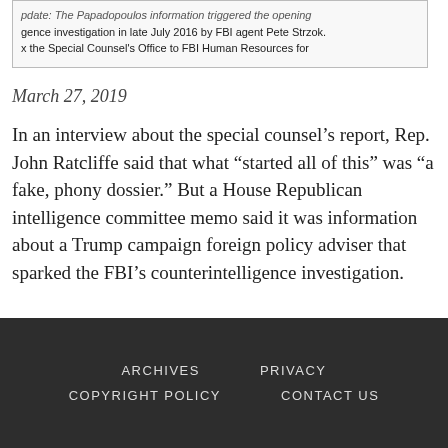[Figure (screenshot): Blurred/cropped screenshot of a document text about intelligence investigation in late July 2016 by FBI agent Pete Strzok and the Special Counsel's Office to FBI Human Resources.]
March 27, 2019
In an interview about the special counsel’s report, Rep. John Ratcliffe said that what “started all of this” was “a fake, phony dossier.” But a House Republican intelligence committee memo said it was information about a Trump campaign foreign policy adviser that sparked the FBI’s counterintelligence investigation.
ARCHIVES   PRIVACY   COPYRIGHT POLICY   CONTACT US